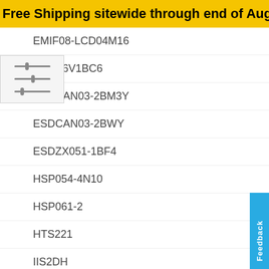Free Shipping sitewide through end of August! No minimum pur
EMIF08-LCD04M16
ESDA6V1BC6
ESDCAN03-2BM3Y
ESDCAN03-2BWY
ESDZX051-1BF4
HSP054-4N10
HSP061-2
HTS221
IIS2DH
IIS2DLPC
IIS2MDC